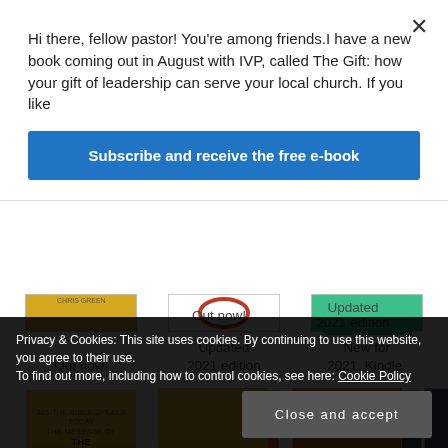Hi there, fellow pastor! You’re among friends.I have a new book coming out in August with IVP, called The Gift: how your gift of leadership can serve your local church. If you like
Subscribe and receive the free e-book
Out now!
Updated 2021 edition
New for 2021. Kindle.
[Figure (photo): Partial book cover - The Message of The Church]
[Figure (photo): Partial book cover - Cutting to the Heart]
[Figure (photo): Partial book cover - 2 Timothy Finishing the Race]
Privacy & Cookies: This site uses cookies. By continuing to use this website, you agree to their use.
To find out more, including how to control cookies, see here: Cookie Policy
Close and accept